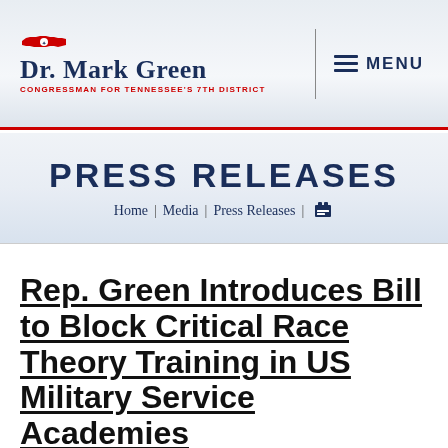Dr. Mark Green — CONGRESSMAN for TENNESSEE'S 7TH DISTRICT | MENU
PRESS RELEASES
Home | Media | Press Releases |
Rep. Green Introduces Bill to Block Critical Race Theory Training in US Military Service Academies